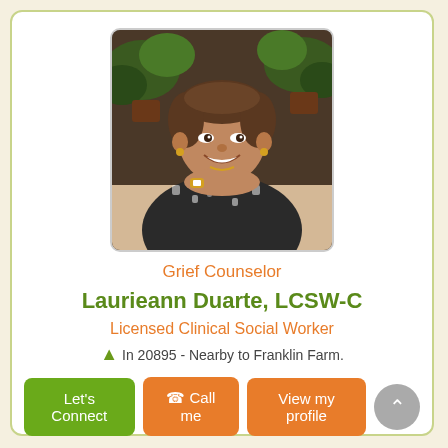[Figure (photo): Profile photo of Laurieann Duarte, a woman with short hair smiling, resting her chin on her hands, wearing a patterned top and gold watch, with plants in the background.]
Grief Counselor
Laurieann Duarte, LCSW-C
Licensed Clinical Social Worker
In 20895 - Nearby to Franklin Farm.
Let's Connect
Call me
View my profile